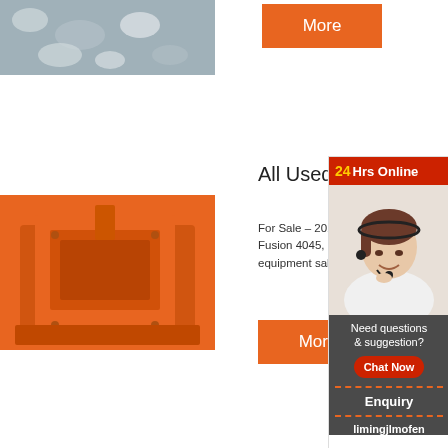[Figure (photo): Top left photo of crushed stone/aggregate material, gray tones]
More
All Used S... ne
[Figure (photo): Orange impact crusher / hammer mill machine, industrial mining equipment]
For Sale – 201... - F Fusion 4045, P... , S equipment sale... ome
More
[Figure (photo): 24Hrs Online overlay panel with female customer service agent wearing headset]
Need questions & suggestion?
Chat Now
Enquiry
limingjlmofen